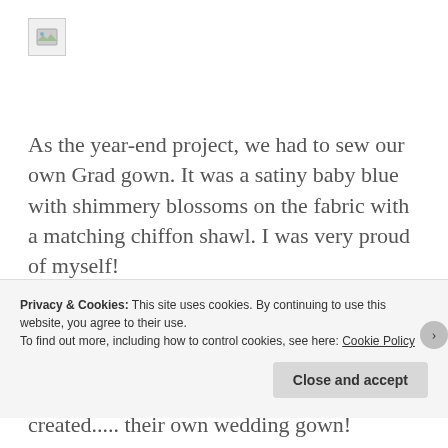[Figure (photo): Broken image placeholder icon in top-left corner]
As the year-end project, we had to sew our own Grad gown. It was a satiny baby blue with shimmery blossoms on the fabric with a matching chiffon shawl. I was very proud of myself!
Then, I saw what the older grades had created..... their own wedding gown!
Privacy & Cookies: This site uses cookies. By continuing to use this website, you agree to their use.
To find out more, including how to control cookies, see here: Cookie Policy
Close and accept